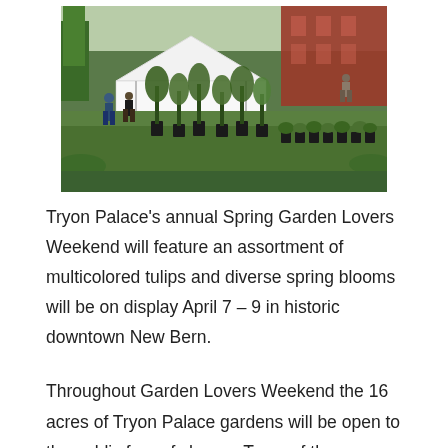[Figure (photo): Outdoor garden market scene with white tent, people browsing plants, tall potted trees and shrubs in black containers on grass, red brick building in background]
Tryon Palace's annual Spring Garden Lovers Weekend will feature an assortment of multicolored tulips and diverse spring blooms will be on display April 7 – 9 in historic downtown New Bern.
Throughout Garden Lovers Weekend the 16 acres of Tryon Palace gardens will be open to the public free of charge. Tours of the Governor's Palace, historic homes, and the Pensi Family